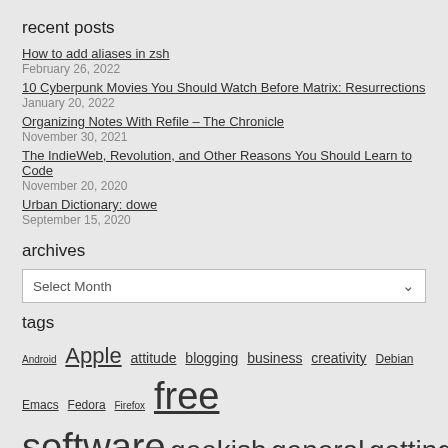recent posts
How to add aliases in zsh
February 26, 2022
10 Cyberpunk Movies You Should Watch Before Matrix: Resurrections
January 20, 2022
Organizing Notes With Refile – The Chronicle
November 30, 2021
The IndieWeb, Revolution, and Other Reasons You Should Learn to Code
November 20, 2020
Urban Dictionary: dowe
September 15, 2020
archives
Select Month
tags
Android Apple attitude blogging business creativity Debian Emacs Fedora Firefox free software geekish general getting things done GNU+Linux Google hardware instagram internet introspective macOS music networking processes